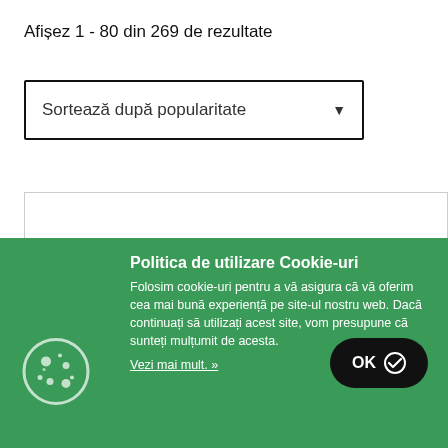Afișez 1 - 80 din 269 de rezultate
[Figure (screenshot): Dropdown selector labeled 'Sortează după popularitate' with a down arrow]
[Figure (screenshot): Empty content box area]
Politica de utilizare Cookie-uri
Folosim cookie-uri pentru a vă asigura că vă oferim cea mai bună experiență pe site-ul nostru web. Dacă continuați să utilizați acest site, vom presupune că sunteți mulțumit de acesta.
Vezi mai mult. »